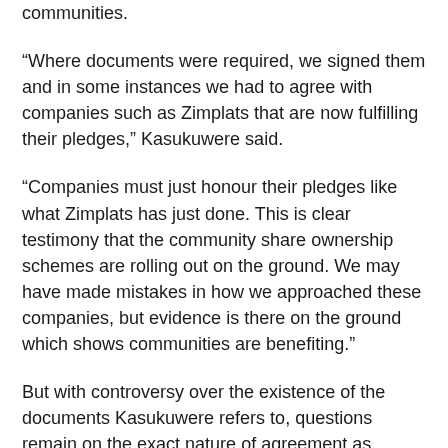communities.
“Where documents were required, we signed them and in some instances we had to agree with companies such as Zimplats that are now fulfilling their pledges,” Kasukuwere said.
“Companies must just honour their pledges like what Zimplats has just done. This is clear testimony that the community share ownership schemes are rolling out on the ground. We may have made mistakes in how we approached these companies, but evidence is there on the ground which shows communities are benefiting.”
But with controversy over the existence of the documents Kasukuwere refers to, questions remain on the exact nature of agreement as Zimpalts remains the exception rather than the rule when it comes to community share ownership trusts.